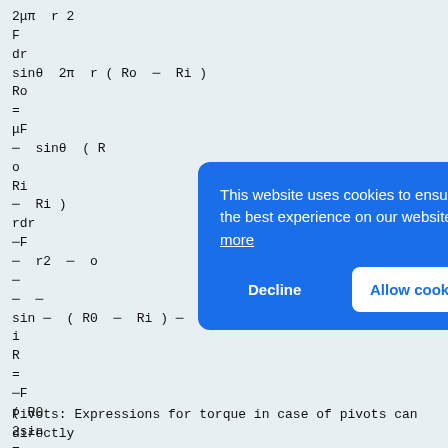[Figure (screenshot): Cookie consent overlay banner with blue background. Text reads 'This website uses cookies to ensure you get the best experience on our website. Learn more' with Decline and Allow cookies buttons.]
Pivots:
Expressions for torque in case of pivots can directly